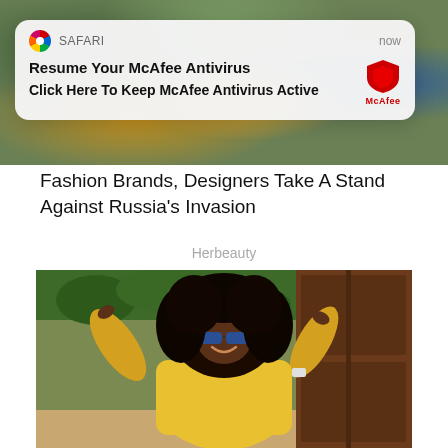[Figure (photo): Fashion photo showing women in colorful outfits (orange/yellow and blue) outdoors with greenery in background]
[Figure (screenshot): iOS Safari browser notification popup: 'Resume Your McAfee Antivirus' / 'Click Here To Keep McAfee Antivirus Active' with McAfee shield logo, showing 'SAFARI' and 'now' in header]
Fashion Brands, Designers Take A Stand Against Russia's Invasion
Herbeauty
[Figure (photo): Woman with large natural afro hair wearing yellow long-sleeve top and sunglasses, posing energetically with arms raised, in front of wooden door and outdoor greenery]